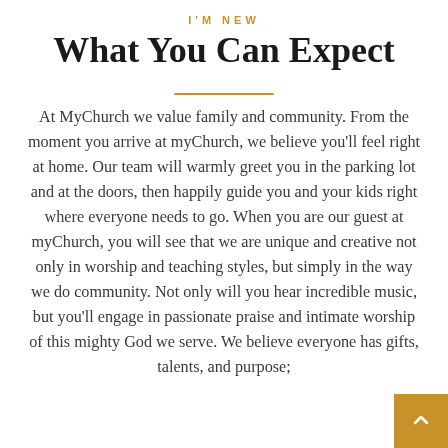I'M NEW
What You Can Expect
At MyChurch we value family and community. From the moment you arrive at myChurch, we believe you'll feel right at home. Our team will warmly greet you in the parking lot and at the doors, then happily guide you and your kids right where everyone needs to go. When you are our guest at myChurch, you will see that we are unique and creative not only in worship and teaching styles, but simply in the way we do community. Not only will you hear incredible music, but you'll engage in passionate praise and intimate worship of this mighty God we serve. We believe everyone has gifts, talents, and purpose;